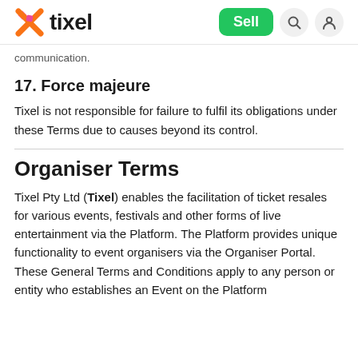tixel — Sell
communication.
17. Force majeure
Tixel is not responsible for failure to fulfil its obligations under these Terms due to causes beyond its control.
Organiser Terms
Tixel Pty Ltd (Tixel) enables the facilitation of ticket resales for various events, festivals and other forms of live entertainment via the Platform. The Platform provides unique functionality to event organisers via the Organiser Portal. These General Terms and Conditions apply to any person or entity who establishes an Event on the Platform